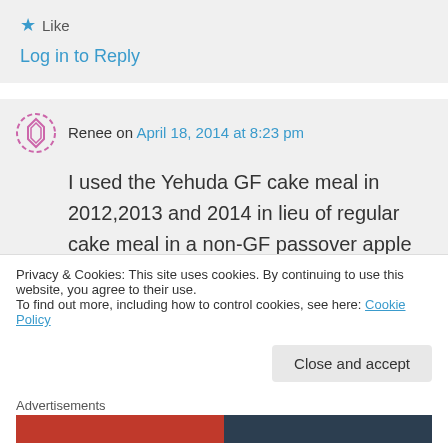★ Like
Log in to Reply
Renee on April 18, 2014 at 8:23 pm
I used the Yehuda GF cake meal in 2012,2013 and 2014 in lieu of regular cake meal in a non-GF passover apple cake recipe, & everyone loved it. It was even
Privacy & Cookies: This site uses cookies. By continuing to use this website, you agree to their use.
To find out more, including how to control cookies, see here: Cookie Policy
Close and accept
Advertisements